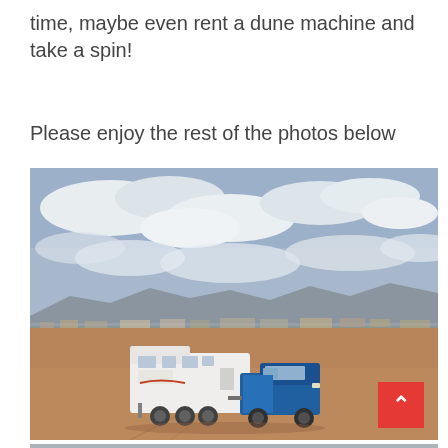time, maybe even rent a dune machine and take a spin!
Please enjoy the rest of the photos below
[Figure (photo): A truck towing a large white fifth-wheel RV trailer across a flat sandy desert area. Cloudy sky above with distant mountains visible on the horizon. Other vehicles and trailers visible in the background along a fence line.]
[Figure (photo): Partial view of another outdoor photo, partially cut off at the bottom of the page.]